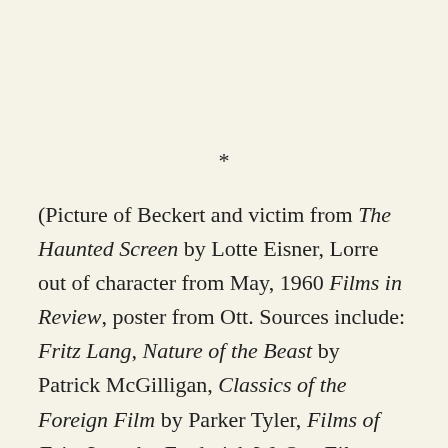*
(Picture of Beckert and victim from The Haunted Screen by Lotte Eisner, Lorre out of character from May, 1960 Films in Review, poster from Ott. Sources include: Fritz Lang, Nature of the Beast by Patrick McGilligan, Classics of the Foreign Film by Parker Tyler, Films of Fritz Lang by Frederick W. Ott, Film Encyclopedia by Ephraim Katz, Videohound's World Cinema edited by Elliot Wilhelm, Who the Devil Made It edited by Peter